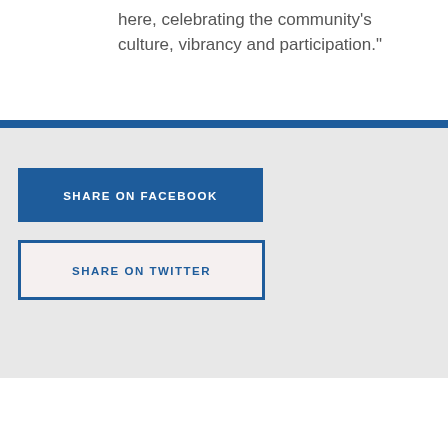here, celebrating the community's culture, vibrancy and participation."
SHARE ON FACEBOOK
SHARE ON TWITTER